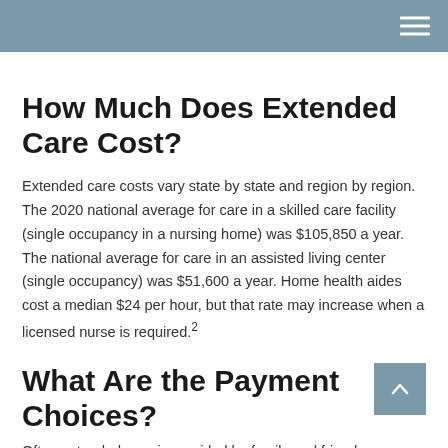How Much Does Extended Care Cost?
Extended care costs vary state by state and region by region. The 2020 national average for care in a skilled care facility (single occupancy in a nursing home) was $105,850 a year. The national average for care in an assisted living center (single occupancy) was $51,600 a year. Home health aides cost a median $24 per hour, but that rate may increase when a licensed nurse is required.²
What Are the Payment Choices?
Often extended care is provided by family and friends